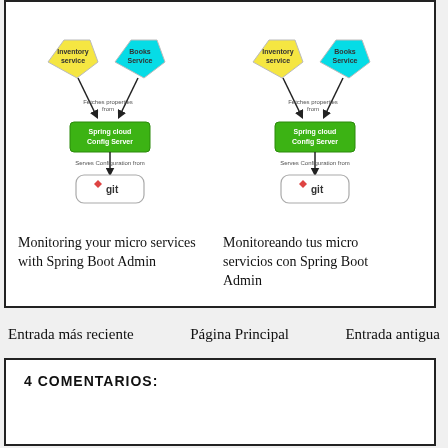RELATED POSTS:
[Figure (flowchart): Architecture diagram showing Inventory service and Books Service pentagons with arrows pointing to Spring Cloud Config Server green box, which has arrow pointing down to git repository box. Labelled 'Fetches properties from' and 'Serves Configuration from'.]
Monitoring your micro services with Spring Boot Admin
[Figure (flowchart): Architecture diagram showing Inventory service and Books Service pentagons with arrows pointing to Spring Cloud Config Server green box, which has arrow pointing down to git repository box. Labelled 'Fetches properties from' and 'Serves Configuration from'.]
Monitoreando tus micro servicios con Spring Boot Admin
Entrada más reciente
Página Principal
Entrada antigua
4 COMENTARIOS: